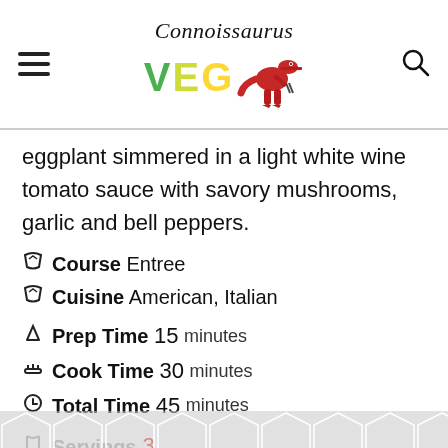Connoissaurus VEG
eggplant simmered in a light white wine tomato sauce with savory mushrooms, garlic and bell peppers.
Course  Entree
Cuisine  American, Italian
Prep Time  15  minutes
Cook Time  30  minutes
Total Time  45  minutes
Servings  3
Ca...